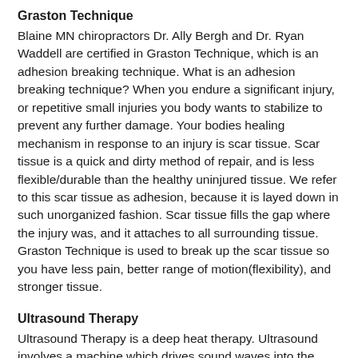Graston Technique
Blaine MN chiropractors Dr. Ally Bergh and Dr. Ryan Waddell are certified in Graston Technique, which is an adhesion breaking technique. What is an adhesion breaking technique? When you endure a significant injury, or repetitive small injuries you body wants to stabilize to prevent any further damage. Your bodies healing mechanism in response to an injury is scar tissue. Scar tissue is a quick and dirty method of repair, and is less flexible/durable than the healthy uninjured tissue. We refer to this scar tissue as adhesion, because it is layed down in such unorganized fashion. Scar tissue fills the gap where the injury was, and it attaches to all surrounding tissue. Graston Technique is used to break up the scar tissue so you have less pain, better range of motion(flexibility), and stronger tissue.
Ultrasound Therapy
Ultrasound Therapy is a deep heat therapy. Ultrasound involves a machine which drives sound waves into the tissue. These sound waves interact with your tissues(muscles/tendons/ligaments) on the cellular level increasing healing time and decreasing pain and inflammation. Ultrasound is used on soft tissue injuries and goes hand in hand with Graston Technique. Once the adhesions are broken up ultrasound is applied to the area. The goal of